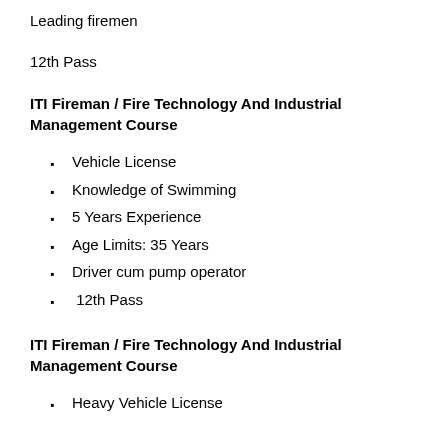Leading firemen
12th Pass
ITI Fireman / Fire Technology And Industrial Management Course
Vehicle License
Knowledge of Swimming
5 Years Experience
Age Limits: 35 Years
Driver cum pump operator
12th Pass
ITI Fireman / Fire Technology And Industrial Management Course
Heavy Vehicle License